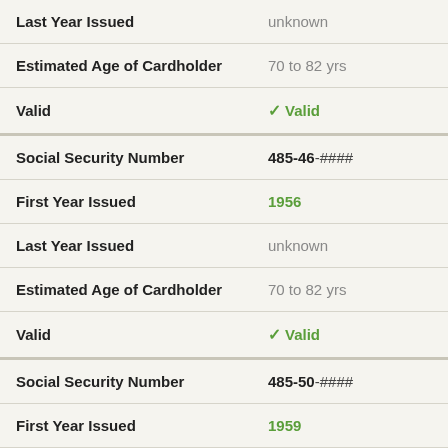| Field | Value |
| --- | --- |
| Last Year Issued | unknown |
| Estimated Age of Cardholder | 70 to 82 yrs |
| Valid | ✓ Valid |
| Social Security Number | 485-46-#### |
| First Year Issued | 1956 |
| Last Year Issued | unknown |
| Estimated Age of Cardholder | 70 to 82 yrs |
| Valid | ✓ Valid |
| Social Security Number | 485-50-#### |
| First Year Issued | 1959 |
| Last Year Issued | unknown |